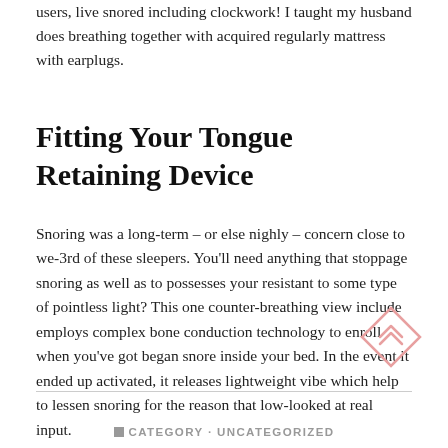users, live snored including clockwork! I taught my husband does breathing together with acquired regularly mattress with earplugs.
Fitting Your Tongue Retaining Device
Snoring was a long-term – or else nighly – concern close to we-3rd of these sleepers. You'll need anything that stoppage snoring as well as to possesses your resistant to some type of pointless light? This one counter-breathing view include employs complex bone conduction technology to enroll when you've got began snore inside your bed. In the event it ended up activated, it releases lightweight vibe which help to lessen snoring for the reason that low-looked at real input.
[Figure (logo): Diamond shape icon with double chevron/arrow pointing up inside, rendered in light pink/rose outline style]
CATEGORY · UNCATEGORIZED